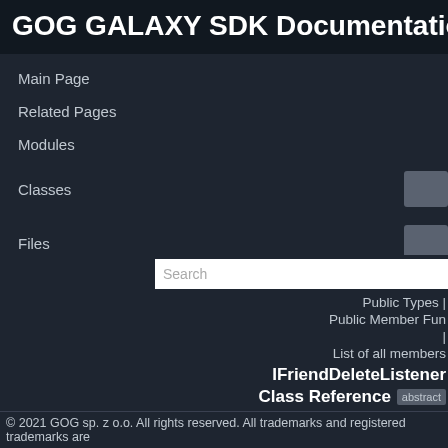GOG GALAXY SDK Documentation
Main Page
Related Pages
Modules
Classes
Files
Search
Public Types |
Public Member Fun
|
List of all members
IFriendDeleteListener
Class Reference abstract
© 2021 GOG sp. z o.o. All rights reserved. All trademarks and registered trademarks are